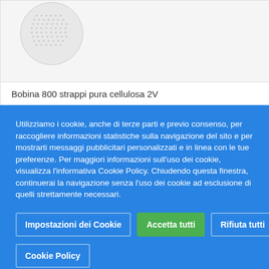[Figure (photo): Partial product image showing a circular patterned roll/bobbin on a white/light grey background]
Bobina 800 strappi pura cellulosa 2V
Utilizziamo i cookie, anche di terze parti e previo consenso, per raccogliere informazioni statistiche sulla navigazione del sito e per mostrarti messaggi pubblicitari personalizzati e in linea con le tue preferenze. Per maggiori informazioni sull'uso dei cookie, visualizza l'informativa Cookie Policy. Chiudendo questa finestra, continuerai la navigazione senza l'uso dei cookie ad esclusione di quelli strettamente necessari.
Impostazioni dei Cookie
Accetta tutti
Rifiuta tutti
Cookie Policy